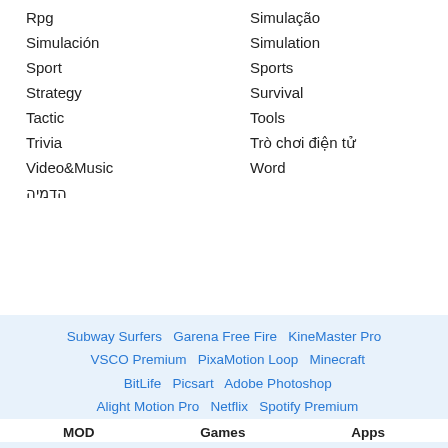Rpg
Simulación
Sport
Strategy
Tactic
Trivia
Video&Music
הדמיה
Simulação
Simulation
Sports
Survival
Tools
Trò chơi điện tử
Word
Subway Surfers   Garena Free Fire   KineMaster Pro
  VSCO Premium   PixaMotion Loop   Minecraft
  BitLife   Picsart   Adobe Photoshop
  Alight Motion Pro   Netflix   Spotify Premium
MOD   Games   Apps